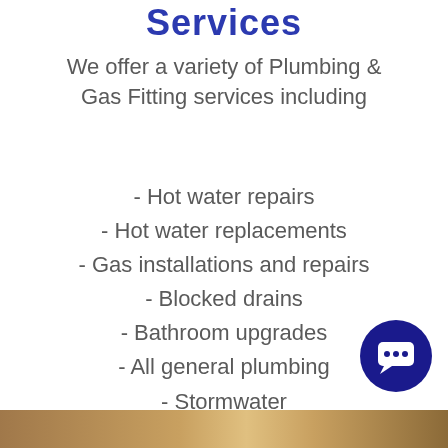Services
We offer a variety of Plumbing & Gas Fitting services including
- Hot water repairs
- Hot water replacements
- Gas installations and repairs
- Blocked drains
- Bathroom upgrades
- All general plumbing
- Stormwater
- Septic Tank Installations
Plus much more!
[Figure (illustration): Dark blue circular chat/message icon button in bottom-right corner]
[Figure (photo): Wooden surface decorative bar at the very bottom of the page]